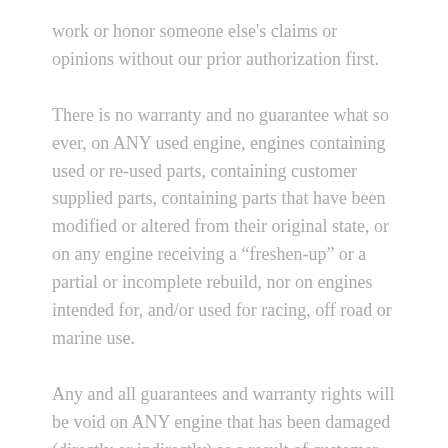work or honor someone else's claims or opinions without our prior authorization first.
There is no warranty and no guarantee what so ever, on ANY used engine, engines containing used or re-used parts, containing customer supplied parts, containing parts that have been modified or altered from their original state, or on any engine receiving a “freshen-up” or a partial or incomplete rebuild, nor on engines intended for, and/or used for racing, off road or marine use.
Any and all guarantees and warranty rights will be void on ANY engine that has been damaged (directly or indirectly) as a result of customer ignorance, neglect or abuse. This includes, but is not limited to; customer forgetting to install or improperly installing the oil pump, oil pump pick-up screen or oil pump drive / or any other engine related parts